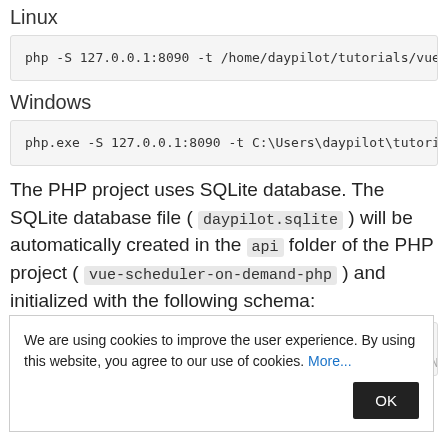Linux
php -S 127.0.0.1:8090 -t /home/daypilot/tutorials/vue-
Windows
php.exe -S 127.0.0.1:8090 -t C:\Users\daypilot\tutoria.
The PHP project uses SQLite database. The SQLite database file ( daypilot.sqlite ) will be automatically created in the api folder of the PHP project ( vue-scheduler-on-demand-php ) and initialized with the following schema:
CREATE TABLE event (
    id              INTEGER  PRIMARY KEY AUTOINCREMENT
We are using cookies to improve the user experience. By using this website, you agree to our use of cookies. More...